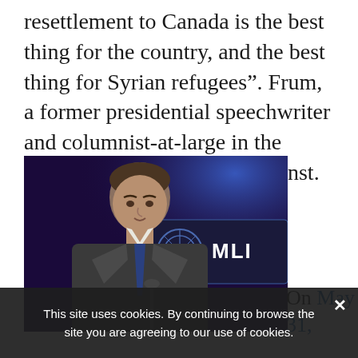resettlement to Canada is the best thing for the country, and the best thing for Syrian refugees”. Frum, a former presidential speechwriter and columnist-at-large in the United States, will argue against.
[Figure (photo): A man in a dark suit with a blue tie speaking at a podium in front of an MLI (Macdonald-Laurier Institute) backdrop with blue lighting]
On May 31,
This site uses cookies. By continuing to browse the site you are agreeing to our use of cookies.